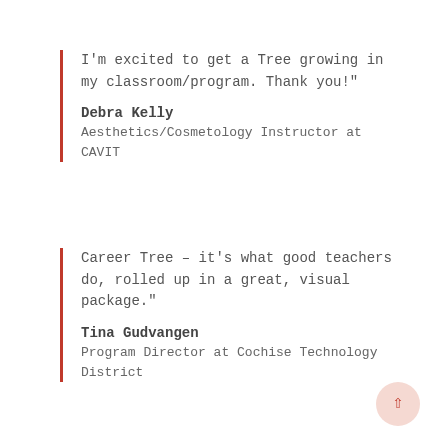I'm excited to get a Tree growing in my classroom/program. Thank you!"
Debra Kelly
Aesthetics/Cosmetology Instructor at CAVIT
Career Tree – it's what good teachers do, rolled up in a great, visual package."
Tina Gudvangen
Program Director at Cochise Technology District